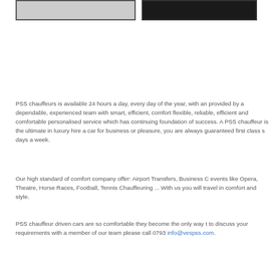[Figure (photo): Two framed vehicle/car images side by side at the top of the page — left image shows a light-colored car, right image shows a dark/black car]
PSS chauffeurs is available 24 hours a day, every day of the year, with an provided by a dependable, experienced team with smart, efficient, comfort flexible, reliable, efficient and comfortable personalised service which has continuing foundation of success. A PSS chauffeur is the ultimate in luxury hire a car for business or pleasure, you are always guaranteed first class s days a week.
Our high standard of comfort company offer: Airport Transfers, Business C events like Opera, Theatre, Horse Races, Football, Tennis Chauffeuring ... With us you will travel in comfort and style.
PSS chauffeur driven cars are so comfortable they become the only way t to discuss your requirements with a member of our team please call 0793 info@vespss.com.